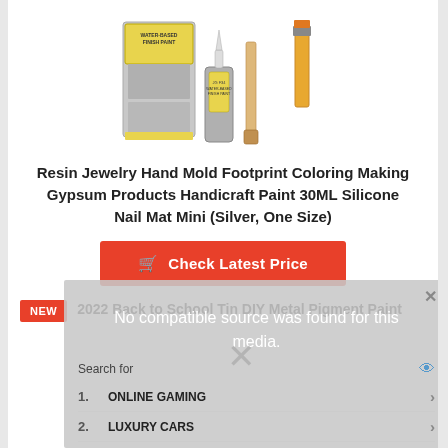[Figure (photo): Product photo of water-based finish paint kit with bottle, box, brush and wooden spatula]
Resin Jewelry Hand Mold Footprint Coloring Making Gypsum Products Handicraft Paint 30ML Silicone Nail Mat Mini (Silver, One Size)
Check Latest Price
NEW
2022 Back to School Tin DIY Metal Pigment Paint
[Figure (screenshot): Ad overlay showing 'No compatible source was found for this media.' with search results for ONLINE GAMING and LUXURY CARS]